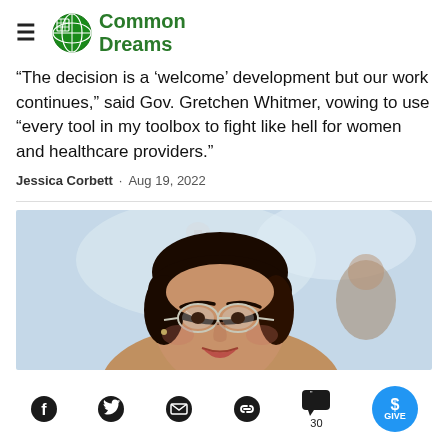Common Dreams
"The decision is a 'welcome' development but our work continues," said Gov. Gretchen Whitmer, vowing to use "every tool in my toolbox to fight like hell for women and healthcare providers."
Jessica Corbett · Aug 19, 2022
[Figure (photo): Close-up photo of a woman with glasses, dark hair, appearing to be speaking outdoors with a light-colored sky in the background.]
Social sharing icons: Facebook, Twitter, Email, Link, Comments (30), Give